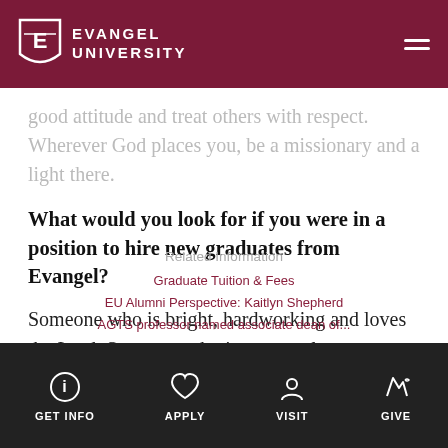Evangel University
good attitude and treat others with respect. Wherever God places you, be a missionary and a light there.
What would you look for if you were in a position to hire new graduates from Evangel?
Someone who is bright, hardworking and loves the Lord. Someone who is a team player, dependable, trustworthy, and honest. Someone who wants to give back, help others, and is eager to learn.
Related Information
Graduate Tuition & Fees
EU Alumni Perspective: Kaitlyn Shepherd
AGTS professor named associate dean of...
GET INFO   APPLY   VISIT   GIVE